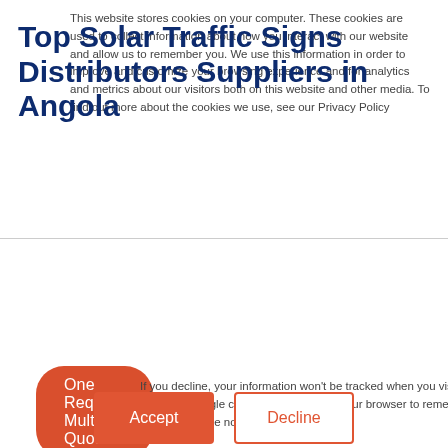Top Solar Traffic Signs Distributors Suppliers in Angola
One Request Multiple Quotes.
This website stores cookies on your computer. These cookies are used to collect information about how you interact with our website and allow us to remember you. We use this information in order to improve and customize your browsing experience and for analytics and metrics about our visitors both on this website and other media. To find out more about the cookies we use, see our Privacy Policy
If you decline, your information won't be tracked when you visit this website. A single cookie will be used in your browser to remember your preference not to be tracked.
Accept
Decline